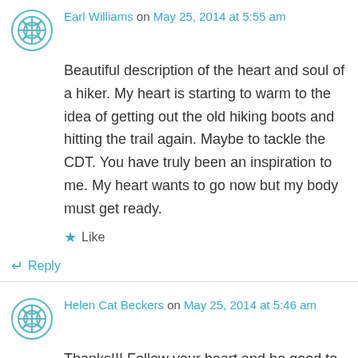Earl Williams on May 25, 2014 at 5:55 am
Beautiful description of the heart and soul of a hiker. My heart is starting to warm to the idea of getting out the old hiking boots and hitting the trail again. Maybe to tackle the CDT. You have truly been an inspiration to me. My heart wants to go now but my body must get ready.
Like
Reply
Helen Cat Beckers on May 25, 2014 at 5:46 am
Thanks!!! Follow your heart and be good to your body, cuz it takes you where your heart wants to go! O and try out some trailrunners, way lighter than your old hiking boots :c) Happy Trails Earl!